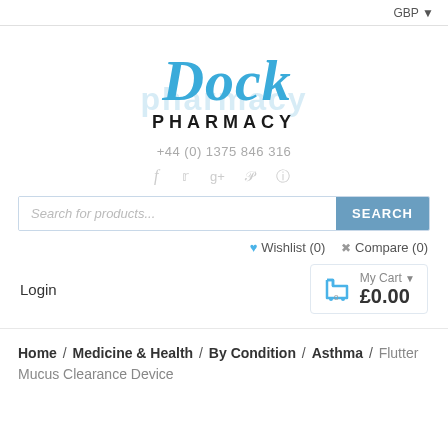GBP ▼
[Figure (logo): Dock Pharmacy logo with blue script 'Dock' and bold black 'PHARMACY' text, with a faded light blue 'pharmacy' behind it]
+44 (0) 1375 846 316
[Figure (other): Social media icons: f (Facebook), Twitter bird, g+, Pinterest, Instagram]
Search for products... SEARCH
♥ Wishlist (0)   ✂ Compare (0)
Login
My Cart ▼ 0 £0.00
Home / Medicine & Health / By Condition / Asthma / Flutter Mucus Clearance Device